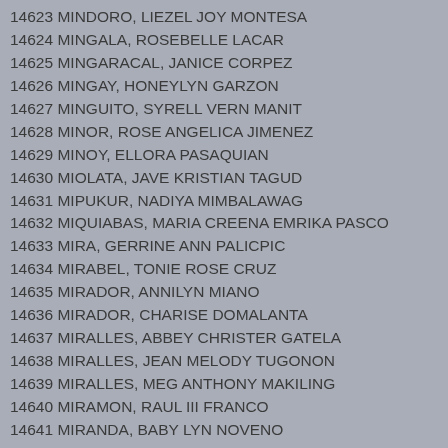14623 MINDORO, LIEZEL JOY MONTESA
14624 MINGALA, ROSEBELLE LACAR
14625 MINGARACAL, JANICE CORPEZ
14626 MINGAY, HONEYLYN GARZON
14627 MINGUITO, SYRELL VERN MANIT
14628 MINOR, ROSE ANGELICA JIMENEZ
14629 MINOY, ELLORA PASAQUIAN
14630 MIOLATA, JAVE KRISTIAN TAGUD
14631 MIPUKUR, NADIYA MIMBALAWAG
14632 MIQUIABAS, MARIA CREENA EMRIKA PASCO
14633 MIRA, GERRINE ANN PALICPIC
14634 MIRABEL, TONIE ROSE CRUZ
14635 MIRADOR, ANNILYN MIANO
14636 MIRADOR, CHARISE DOMALANTA
14637 MIRALLES, ABBEY CHRISTER GATELA
14638 MIRALLES, JEAN MELODY TUGONON
14639 MIRALLES, MEG ANTHONY MAKILING
14640 MIRAMON, RAUL III FRANCO
14641 MIRANDA, BABY LYN NOVENO
14642 MIRANDA, BRENDA MAE AUSTRIA
14643 MIRANDA, CAROLYN RUTH ASIS
14644 MIRANDA, CASSELYN SAYSON